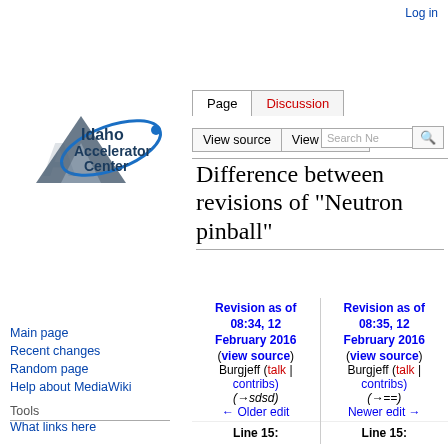Log in
[Figure (logo): Idaho Accelerator Center logo with mountain and orbital ring graphic]
Main page
Recent changes
Random page
Help about MediaWiki
Tools
What links here
Related changes
Special pages
Printable version
Permanent link
Page information
Difference between revisions of "Neutron pinball"
| Revision as of 08:34, 12 February 2016 | Revision as of 08:35, 12 February 2016 |
| --- | --- |
| (view source) | (view source) |
| Burgjeff (talk | contribs) | Burgjeff (talk | contribs) |
| (→sdsd) | (→==) |
| ← Older edit | Newer edit → |
| Line 15: | Line 15: |